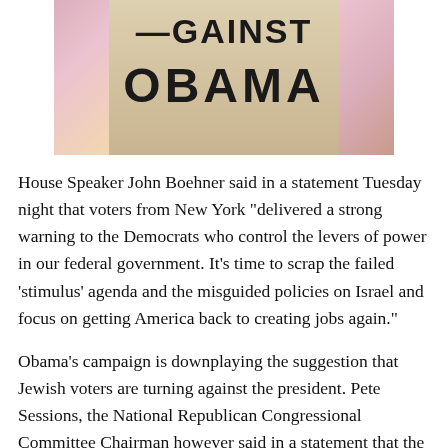[Figure (photo): Photo of a bag or shirt with text 'AGAINST OBAMA' printed in large bold letters, with colorful floral background visible on sides]
House Speaker John Boehner said in a statement Tuesday night that voters from New York “delivered a strong warning to the Democrats who control the levers of power in our federal government. It’s time to scrap the failed ‘stimulus’ agenda and the misguided policies on Israel and focus on getting America back to creating jobs again.”
Obama’s campaign is downplaying the suggestion that Jewish voters are turning against the president. Pete Sessions, the National Republican Congressional Committee Chairman however said in a statement that the race demonstrates “voters are losing confidence in a